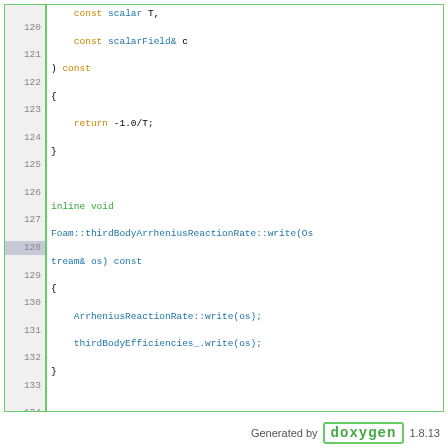[Figure (screenshot): Source code listing (C++) with line numbers 120-146, showing inline methods for thirdBodyArrheniusReactionRate class including write and operator<< functions, rendered in a Doxygen-style code browser with green border and syntax highlighting.]
Generated by doxygen 1.8.13